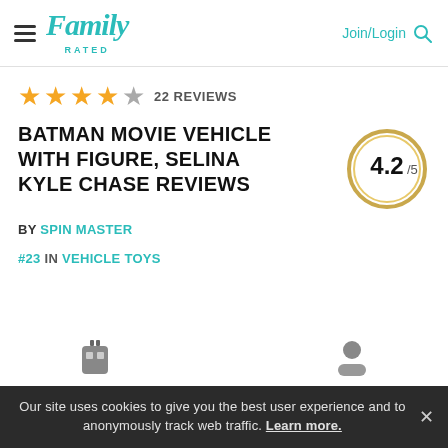Family Rated | Join/Login
★★★★☆ 22 REVIEWS
BATMAN MOVIE VEHICLE WITH FIGURE, SELINA KYLE CHASE REVIEWS
[Figure (other): Score circle showing 4.2/5]
BY SPIN MASTER
#23 IN VEHICLE TOYS
Our site uses cookies to give you the best user experience and to anonymously track web traffic. Learn more. ✕